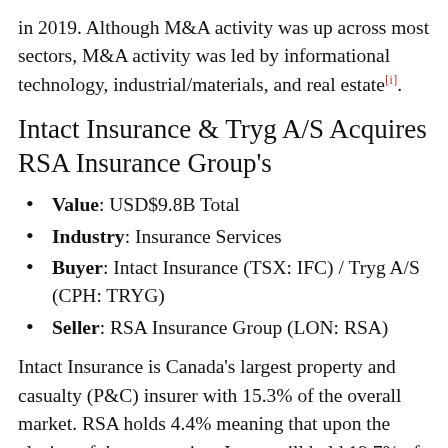in 2019. Although M&A activity was up across most sectors, M&A activity was led by informational technology, industrial/materials, and real estate[i].
Intact Insurance & Tryg A/S Acquires RSA Insurance Group's
Value: USD$9.8B Total
Industry: Insurance Services
Buyer: Intact Insurance (TSX: IFC) / Tryg A/S (CPH: TRYG)
Seller: RSA Insurance Group (LON: RSA)
Intact Insurance is Canada's largest property and casualty (P&C) insurer with 15.3% of the overall market. RSA holds 4.4% meaning that upon the closing of the transaction, Intact will hold 19.7% of